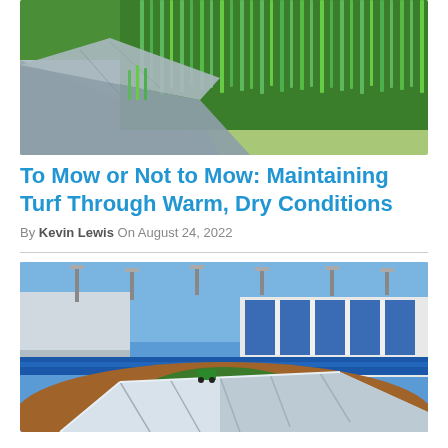[Figure (photo): Close-up photo of bright green turf grass with a grey stone/slate border at the bottom left]
To Mow or Not to Mow: Maintaining Turf Through Warm, Dry Conditions
By Kevin Lewis On August 24, 2022
[Figure (photo): Baseball/softball diamond with red clay infield, a large white tarp/cover on the ground, blue outfield wall, stadium lights, and blue and white building in the background under a clear blue sky]